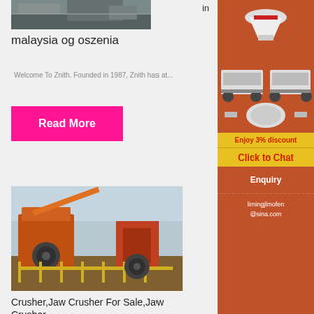[Figure (photo): Industrial/mining facility photo at the top]
in
malaysia og oszenia
Welcome To Znith. Founded in 1987, Znith has at...
Read More
[Figure (photo): Orange jaw crusher / mining equipment at industrial site]
Crusher,Jaw Crusher For Sale,Jaw Crusher ...
[Figure (photo): Sidebar: industrial machinery equipment collage on orange background]
Enjoy 3% discount
Click to Chat
Enquiry
limingjlmofen@sina.com